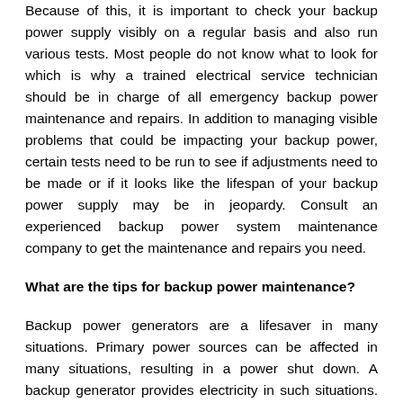Because of this, it is important to check your backup power supply visibly on a regular basis and also run various tests. Most people do not know what to look for which is why a trained electrical service technician should be in charge of all emergency backup power maintenance and repairs. In addition to managing visible problems that could be impacting your backup power, certain tests need to be run to see if adjustments need to be made or if it looks like the lifespan of your backup power supply may be in jeopardy. Consult an experienced backup power system maintenance company to get the maintenance and repairs you need.
What are the tips for backup power maintenance?
Backup power generators are a lifesaver in many situations. Primary power sources can be affected in many situations, resulting in a power shut down. A backup generator provides electricity in such situations. It could avoid any disastrous situations in industrial applications. However, the reliability of these backup generators depends on the level of maintenance provided. Companies should consider routine maintenance as